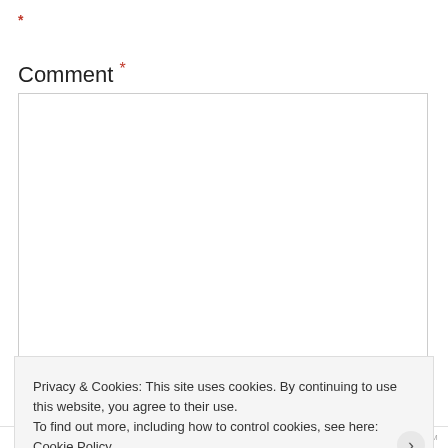*
Comment *
[Figure (screenshot): Empty comment text area input field with resize handle in bottom right corner]
Privacy & Cookies: This site uses cookies. By continuing to use this website, you agree to their use. To find out more, including how to control cookies, see here: Cookie Policy
Close and accept
WORDPRESS.COM